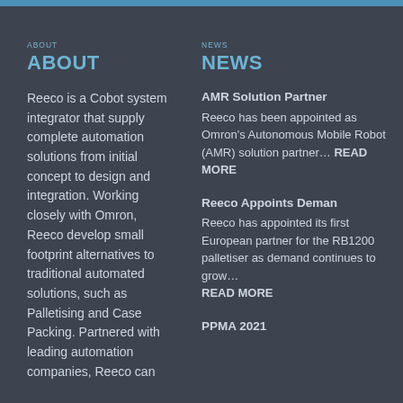ABOUT
Reeco is a Cobot system integrator that supply complete automation solutions from initial concept to design and integration. Working closely with Omron, Reeco develop small footprint alternatives to traditional automated solutions, such as Palletising and Case Packing. Partnered with leading automation companies, Reeco can
NEWS
AMR Solution Partner
Reeco has been appointed as Omron's Autonomous Mobile Robot (AMR) solution partner... READ MORE
Reeco Appoints Deman
Reeco has appointed its first European partner for the RB1200 palletiser as demand continues to grow... READ MORE
PPMA 2021